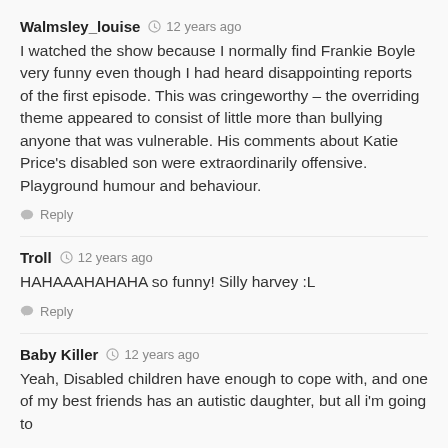Walmsley_louise  12 years ago
I watched the show because I normally find Frankie Boyle very funny even though I had heard disappointing reports of the first episode. This was cringeworthy – the overriding theme appeared to consist of little more than bullying anyone that was vulnerable. His comments about Katie Price's disabled son were extraordinarily offensive. Playground humour and behaviour.
Reply
Troll  12 years ago
HAHAAAHAHAHA so funny! Silly harvey :L
Reply
Baby Killer  12 years ago
Yeah, Disabled children have enough to cope with, and one of my best friends has an autistic daughter, but all i'm going to